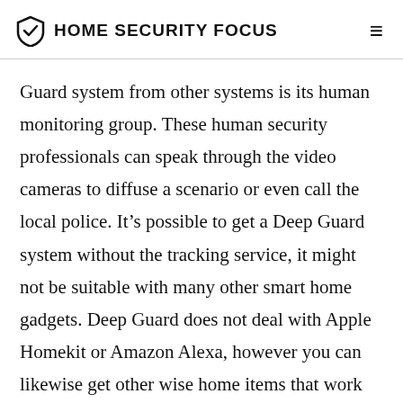HOME SECURITY FOCUS
Guard system from other systems is its human monitoring group. These human security professionals can speak through the video cameras to diffuse a scenario or even call the local police. It’s possible to get a Deep Guard system without the tracking service, it might not be suitable with many other smart home gadgets. Deep Guard does not deal with Apple Homekit or Amazon Alexa, however you can likewise get other wise home items that work with it.